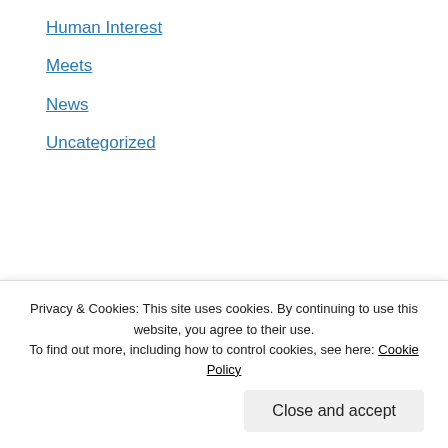Human Interest
Meets
News
Uncategorized
[Figure (logo): U.S. Masters Swimming Endowment Fund badge/logo with blue rounded rectangle border, swimmer icon, and red/blue text reading SUPPORT THE U.S. MASTERS SWIMMING ENDOWMENT FUND]
Privacy & Cookies: This site uses cookies. By continuing to use this website, you agree to their use. To find out more, including how to control cookies, see here: Cookie Policy
Close and accept